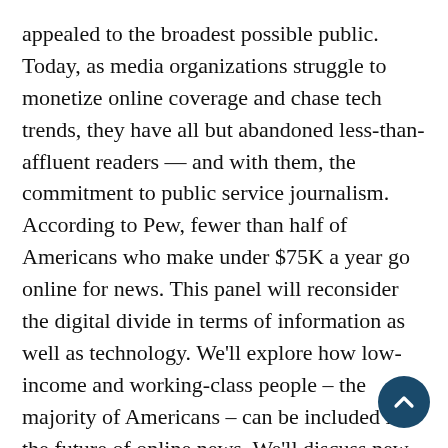appealed to the broadest possible public. Today, as media organizations struggle to monetize online coverage and chase tech trends, they have all but abandoned less-than-affluent readers — and with them, the commitment to public service journalism. According to Pew, fewer than half of Americans who make under $75K a year go online for news. This panel will reconsider the digital divide in terms of information as well as technology. We'll explore how low-income and working-class people – the majority of Americans – can be included in the future of online news. We'll discuss new models for participatory, data-driven local journalism. We're not trying to save newspapers or kill them off. Our aim is to help bring journalism back to those who punch a clock. With: Jessamyn West, Norberto